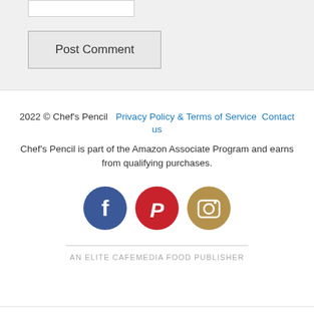[Figure (screenshot): Input text box (form field)]
Post Comment
2022 © Chef's Pencil   Privacy Policy & Terms of Service   Contact us
Chef's Pencil is part of the Amazon Associate Program and earns from qualifying purchases.
[Figure (infographic): Social media icons: Facebook (blue circle with f), Pinterest (red circle with P), Instagram (tan circle with camera)]
AN ELITE CAFEMEDIA FOOD PUBLISHER